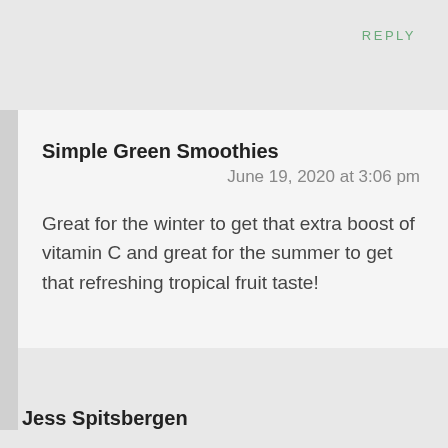REPLY
Simple Green Smoothies
June 19, 2020 at 3:06 pm
Great for the winter to get that extra boost of vitamin C and great for the summer to get that refreshing tropical fruit taste!
Jess Spitsbergen